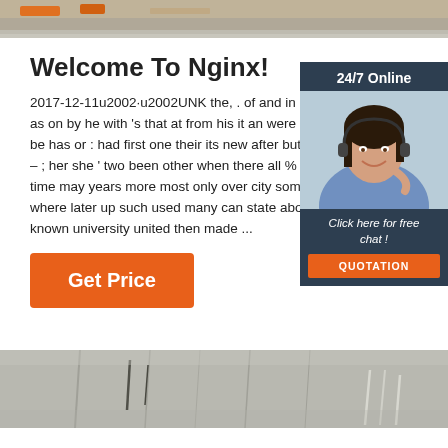[Figure (photo): Top banner photo showing industrial/warehouse setting with orange crane or machinery elements against a grey/brown background]
Welcome To Nginx!
2017-12-11u2002·u2002UNK the, . of and in ' a to as on by he with 's that at from his it an were are were be has or : had first one their its new after but who – ; her she ' two been other when there all % during time may years more most only over city some world where later up such used many can state about many known university united then made ...
[Figure (other): Chat widget with '24/7 Online' header, photo of female customer service agent with headset, 'Click here for free chat!' text, and orange QUOTATION button]
Get Price
[Figure (photo): Bottom banner photo showing modern building exterior with grey paneling and architectural details]